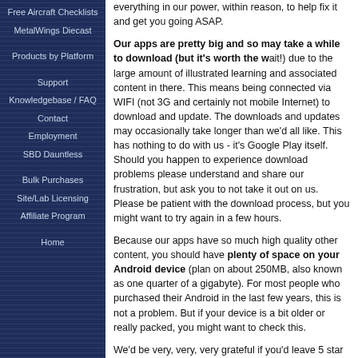Free Aircraft Checklists
MetalWings Diecast
Products by Platform
Support
Knowledgebase / FAQ
Contact
Employment
SBD Dauntless
Bulk Purchases
Site/Lab Licensing
Affiliate Program
Home
everything in our power, within reason, to help fix it and get you going ASAP.
Our apps are pretty big and so may take a while to download (but it's worth the wait!) due to the large amount of illustrated learning and associated content in there. This means being connected via WIFI (not 3G and certainly not mobile Internet) to download and update. The downloads and updates may occasionally take longer than we'd all like. This has nothing to do with us - it's Google Play itself. Should you happen to experience download problems please understand and share our frustration, but ask you to not take it out on us. Please be patient with the download process, but you might want to try again in a few hours.
Because our apps have so much high quality other content, you should have plenty of space on your Android device (plan on about 250MB, also known as one quarter of a gigabyte). For most people who purchased their Android in the last few years, this is not a problem. But if your device is a bit older or really packed, you might want to check this.
We'd be very, very, very grateful if you'd leave 5 star feedback via Google Play reviews. It helps us to continue to update and improve our apps and to keep quality content...